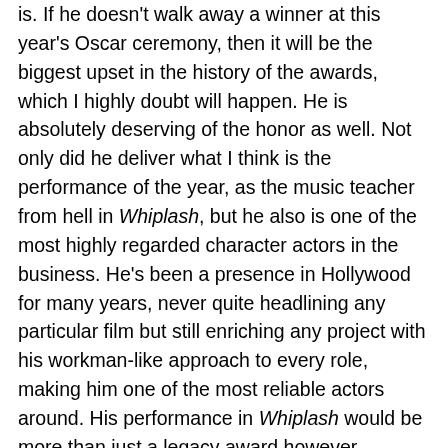is.  If he doesn't walk away a winner at this year's Oscar ceremony, then it will be the biggest upset in the history of the awards, which I highly doubt will happen.  He is absolutely deserving of the honor as well.  Not only did he deliver what I think is the performance of the year, as the music teacher from hell in Whiplash, but he also is one of the most highly regarded character actors in the business.  He's been a presence in Hollywood for many years, never quite headlining any particular film but still enriching any project with his workman-like approach to every role, making him one of the most reliable actors around.  His performance in Whiplash would be more than just a legacy award however, because he is indeed the standout in this category.  The only other competition he might have would be Edward Norton's delightfully quirky turn in Birdman, but even that is a very distant second place.  The others nominated are purely riding the coattails of the selected films, while Robert Duvall is nominated here purely because he's Robert Duvall.  This is an